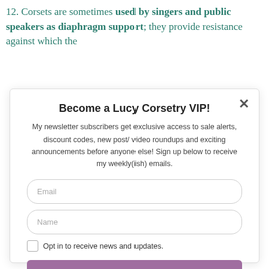12. Corsets are sometimes used by singers and public speakers as diaphragm support; they provide resistance against which the
Become a Lucy Corsetry VIP!
My newsletter subscribers get exclusive access to sale alerts, discount codes, new post/ video roundups and exciting announcements before anyone else! Sign up below to receive my weekly(ish) emails.
Email
Name
Opt in to receive news and updates.
SUBSCRIBE